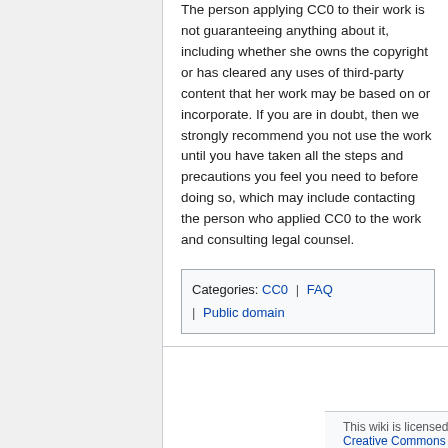The person applying CC0 to their work is not guaranteeing anything about it, including whether she owns the copyright or has cleared any uses of third-party content that her work may be based on or incorporate. If you are in doubt, then we strongly recommend you not use the work until you have taken all the steps and precautions you feel you need to before doing so, which may include contacting the person who applied CC0 to the work and consulting legal counsel.
Categories: CC0 | FAQ | Public domain
This wiki is licensed to the public under a Creative Commons Attribution 4.0 license.